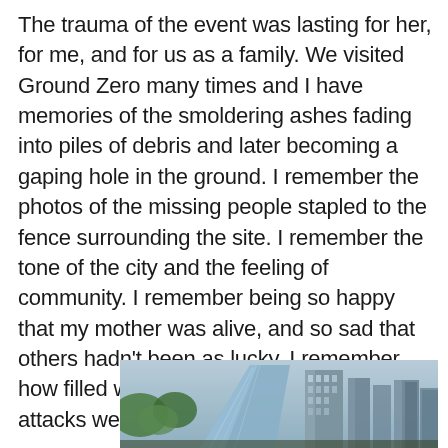The trauma of the event was lasting for her, for me, and for us as a family. We visited Ground Zero many times and I have memories of the smoldering ashes fading into piles of debris and later becoming a gaping hole in the ground. I remember the photos of the missing people stapled to the fence surrounding the site. I remember the tone of the city and the feeling of community. I remember being so happy that my mother was alive, and so sad that others hadn't been as lucky. I remember how filled with grief each anniversary of the attacks were each year.
[Figure (photo): Partial photograph of urban skyline with modern glass buildings, cropped at bottom of page]